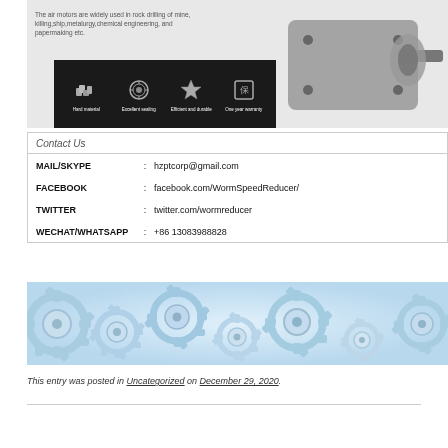[Figure (photo): Product promotional image showing an air motor/gearbox component on the right, descriptive text on the left, and a black banner with four feature icons (Hard material, Excellent sealing, Efficient and durable, One year warranty)]
Contact Us
MAIL/SKYPE : hzptcorp@gmail.com
FACEBOOK : facebook.com/WormSpeedReducer/
TWITTER : twitter.com/wormreducer
WECHAT/WHATSAPP : +86 13083988828
[Figure (illustration): Blue and white decorative gears/cogs illustration banner at the bottom of the contact section]
This entry was posted in Uncategorized on December 29, 2020.